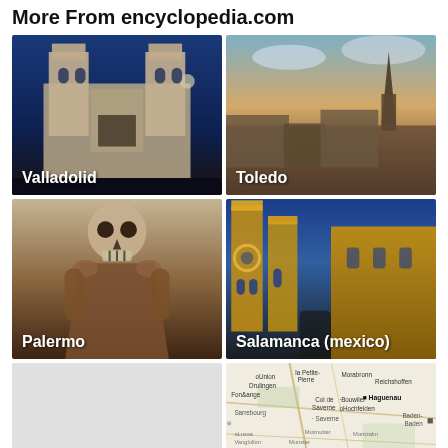More From encyclopedia.com
[Figure (photo): Photo of Valladolid cathedral facade with two towers against blue sky]
[Figure (photo): Photo of Toledo city skyline at sunset with cathedral spires]
[Figure (photo): Photo of Palermo mummy/skull figure exhibit]
[Figure (photo): Photo of Salamanca (mexico) cathedral lit in golden light at night]
[Figure (photo): Partial gray/blank card on bottom left]
[Figure (map): Map showing Haguenau region with surrounding towns including Saverne, Sarrebourg, Strasbourg, Baden-Baden]